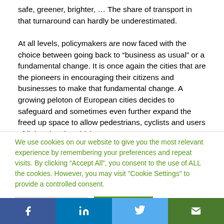safe, greener, brighter, … The share of transport in that turnaround can hardly be underestimated.
At all levels, policymakers are now faced with the choice between going back to “business as usual” or a fundamental change. It is once again the cities that are the pioneers in encouraging their citizens and businesses to make that fundamental change. A growing peloton of European cities decides to safeguard and sometimes even further expand the freed up space to allow pedestrians, cyclists and users of light, electric vehicles
We use cookies on our website to give you the most relevant experience by remembering your preferences and repeat visits. By clicking “Accept All”, you consent to the use of ALL the cookies. However, you may visit “Cookie Settings” to provide a controlled consent.
Cookie Settings | Accept All
[Figure (other): Social media sharing bar with Facebook, LinkedIn, Twitter, and email icons]